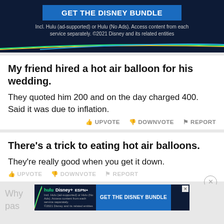[Figure (screenshot): Disney Bundle advertisement banner with dark navy background, blue button reading GET THE DISNEY BUNDLE, small text about Hulu and Disney services, and decorative colored lines]
My friend hired a hot air balloon for his wedding.
They quoted him 200 and on the day charged 400. Said it was due to inflation.
UPVOTE   DOWNVOTE   REPORT
There's a trick to eating hot air balloons.
They're really good when you get it down.
UPVOTE   DOWNVOTE   REPORT
[Figure (screenshot): Disney Bundle bottom advertisement with hulu, Disney+, ESPN+ logos and GET THE DISNEY BUNDLE button]
Why ... past ...